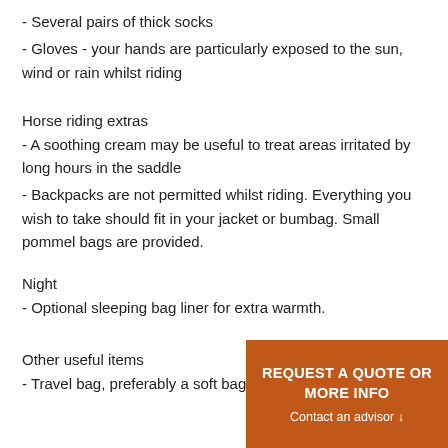- Several pairs of thick socks
- Gloves - your hands are particularly exposed to the sun, wind or rain whilst riding
Horse riding extras
- A soothing cream may be useful to treat areas irritated by long hours in the saddle
- Backpacks are not permitted whilst riding. Everything you wish to take should fit in your jacket or bumbag. Small pommel bags are provided.
Night
- Optional sleeping bag liner for extra warmth.
Other useful items
- Travel bag, preferably a soft bag
REQUEST A QUOTE OR MORE INFO
Contact an advisor ↓